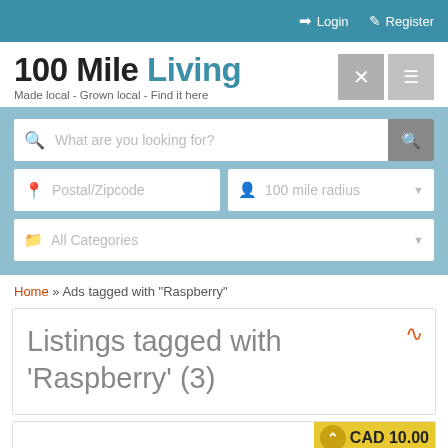Login  Register
100 Mile Living
Made local - Grown local - Find it here
[Figure (screenshot): Search interface with text field 'What are you looking for?', location field 'Postal/Zipcode', radius dropdown '100 mile radius', and category dropdown 'All Categories']
Home » Ads tagged with "Raspberry"
Listings tagged with 'Raspberry' (3)
CAD 10.00